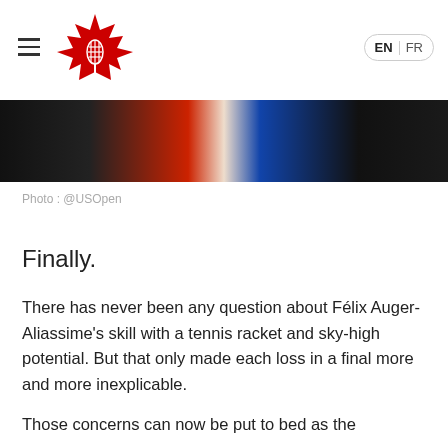Tennis Canada navigation header with logo, hamburger menu, EN/FR language switcher
[Figure (photo): Cropped photo strip showing a tennis player in a red, white and blue outfit against a dark background]
Photo : @USOpen
Finally.
There has never been any question about Félix Auger-Aliassime's skill with a tennis racket and sky-high potential. But that only made each loss in a final more and more inexplicable.
Those concerns can now be put to bed as the